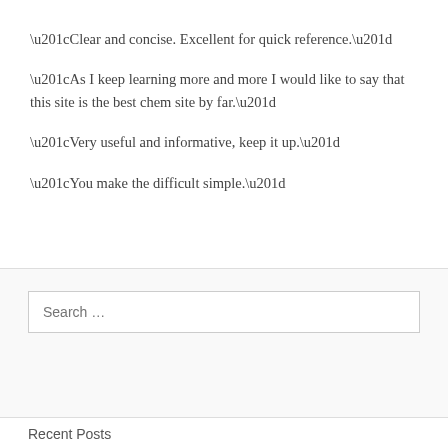“Clear and concise. Excellent for quick reference.”
“As I keep learning more and more I would like to say that this site is the best chem site by far.”
“Very useful and informative, keep it up.”
“You make the difficult simple.”
Search …
Recent Posts